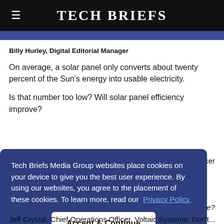Tech Briefs
Billy Hurley, Digital Editorial Manager
On average, a solar panel only converts about twenty percent of the Sun’s energy into usable electricity.
Is that number too low? Will solar panel efficiency improve?
Tech Briefs Media Group websites place cookies on your device to give you the best user experience. By using our websites, you agree to the placement of these cookies. To learn more, read our Privacy Policy.
Accept & Continue